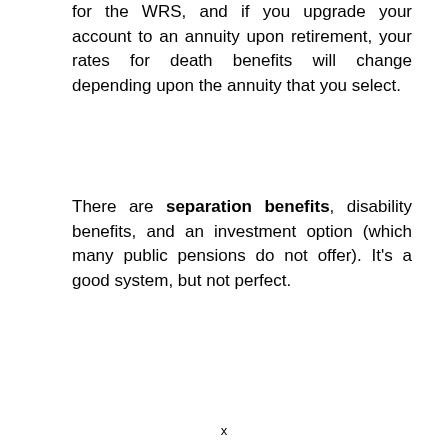for the WRS, and if you upgrade your account to an annuity upon retirement, your rates for death benefits will change depending upon the annuity that you select.
There are separation benefits, disability benefits, and an investment option (which many public pensions do not offer). It's a good system, but not perfect.
x